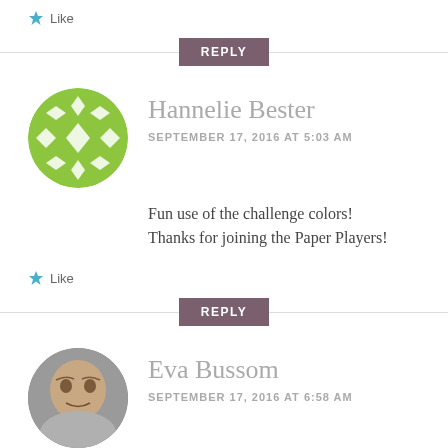★ Like
REPLY
[Figure (illustration): Green circular avatar with diamond/cross pattern for Hannelie Bester]
Hannelie Bester
SEPTEMBER 17, 2016 AT 5:03 AM
Fun use of the challenge colors! Thanks for joining the Paper Players!
★ Like
REPLY
[Figure (photo): Photo avatar of Eva Bussom, elderly woman]
Eva Bussom
SEPTEMBER 17, 2016 AT 6:58 AM